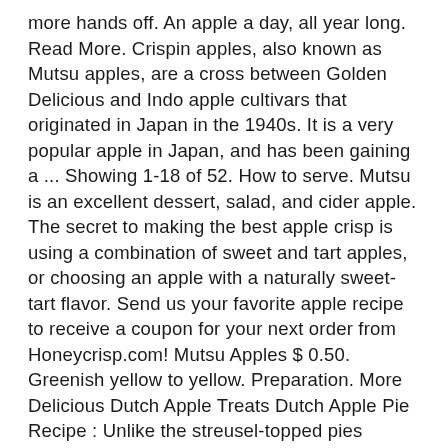more hands off. An apple a day, all year long. Read More. Crispin apples, also known as Mutsu apples, are a cross between Golden Delicious and Indo apple cultivars that originated in Japan in the 1940s. It is a very popular apple in Japan, and has been gaining a ... Showing 1-18 of 52. How to serve. Mutsu is an excellent dessert, salad, and cider apple. The secret to making the best apple crisp is using a combination of sweet and tart apples, or choosing an apple with a naturally sweet-tart flavor. Send us your favorite apple recipe to receive a coupon for your next order from Honeycrisp.com! Mutsu Apples $ 0.50. Greenish yellow to yellow. Preparation. More Delicious Dutch Apple Treats Dutch Apple Pie Recipe : Unlike the streusel-topped pies Americans call Dutch apple pie, ... Whisk together flour, zest, cinnamon, allspice, salt, and 2/3 cup sugar and gently toss with apples and lemon juice. Best Uses: Mutsu apples are excellent for fresh eating, cider, applesauce, and pies. Georgia's apple varieties include Ozark Gold, Paulard (July – August); Red Delicious, Golden Delicious (July – December); Rome Beauty, Mutzu Crispin (August – December); Empire, Jonagold, Jonathan (August – September); Arkansas Black, Fuji, Granny Smith, Stayman Winesap and Yates (October – December). Once your apples have been peeled, cored, and